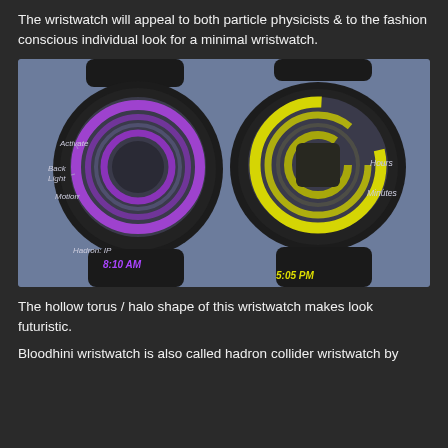The wristwatch will appeal to both particle physicists & to the fashion conscious individual look for a minimal wristwatch.
[Figure (illustration): Two futuristic wristwatches with hollow torus / halo ring faces on dark background. Left watch shows purple glowing rings labeled 'Activate', 'Back Light', 'Motion', 'Hadron: IP', time shown as '8:10 AM' in purple. Right watch shows yellow glowing rings labeled 'Hours', 'Minutes', time shown as '5:05 PM' in yellow.]
The hollow torus / halo shape of this wristwatch makes look futuristic.
Bloodhini wristwatch is also called hadron collider wristwatch by